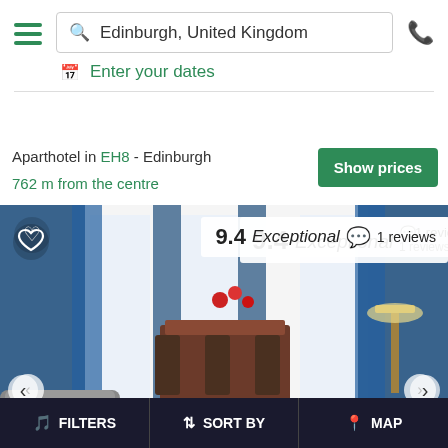Edinburgh, United Kingdom | Enter your dates
Aparthotel in EH8 - Edinburgh
762 m from the centre
[Figure (photo): Interior photo of a luxury apartment living room with blue curtains, grey armchair, white coffee table, blue sofas, and flower arrangement]
9.4 Exceptional 1 reviews
Princes Street Suites
Aparthotel in EH7 - Edinburgh
419 m from the centre
FILTERS | SORT BY | MAP